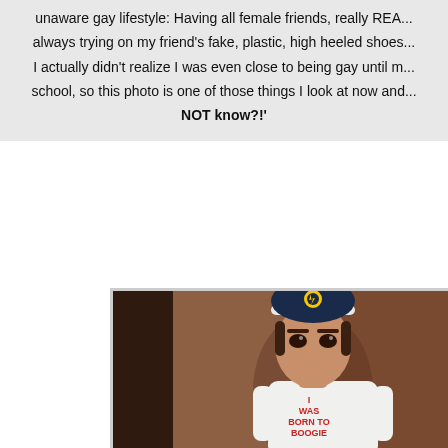unaware gay lifestyle: Having all female friends, really REA... always trying on my friend's fake, plastic, high heeled shoes... I actually didn't realize I was even close to being gay until m... school, so this photo is one of those things I look at now and... NOT know?!'
[Figure (photo): A vintage photograph of a young child wearing a dark navy baseball cap with a circular badge/logo on it and a white t-shirt that reads 'I WAS BORN TO BOOGIE'. The child is standing indoors against a brownish-red background.]